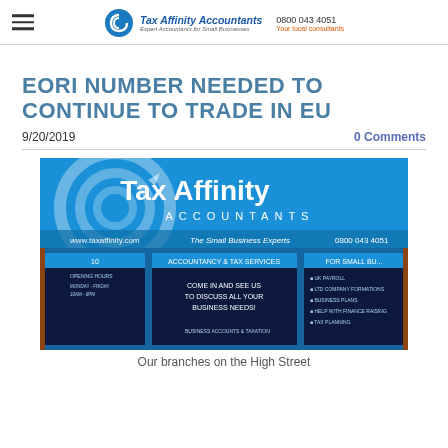Tax Affinity Accountants | Your local consultants | 0800 043 4051
EORI NUMBER NEEDED TO CONTINUE TO TRADE IN EU
9/20/2019
0 Comments
[Figure (photo): Exterior photo of Tax Affinity Accountants branch on the High Street, showing the blue branded storefront with signage reading 'Tax Affinity Accountants - The Small Business Experts', website www.taxaffinity.com, phone 0800 043 4051, and window displays listing accountancy and tax services.]
Our branches on the High Street